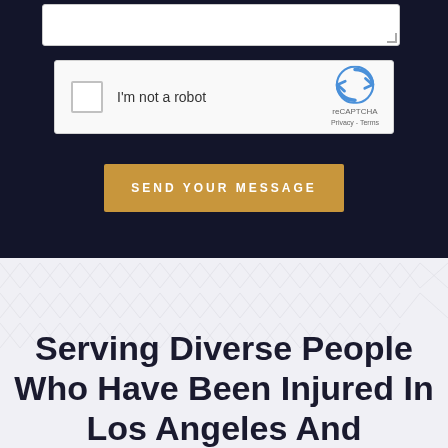[Figure (screenshot): reCAPTCHA widget with checkbox labeled 'I'm not a robot' and Google reCAPTCHA logo with Privacy and Terms links]
SEND YOUR MESSAGE
Serving Diverse People Who Have Been Injured In Los Angeles And